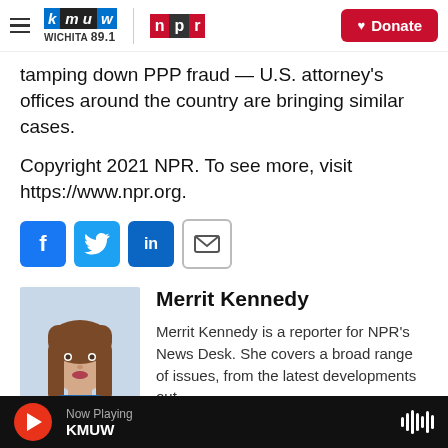KMUW Wichita 89.1 | NPR — Donate
tamping down PPP fraud — U.S. attorney's offices around the country are bringing similar cases.
Copyright 2021 NPR. To see more, visit https://www.npr.org.
[Figure (other): Social sharing icons: Facebook (f), Twitter (bird), LinkedIn (in), Email (envelope)]
[Figure (photo): Headshot photo of Merrit Kennedy, a woman with long brown hair wearing a blue top]
Merrit Kennedy
Merrit Kennedy is a reporter for NPR's News Desk. She covers a broad range of issues, from the latest developments out
Now Playing KMUW